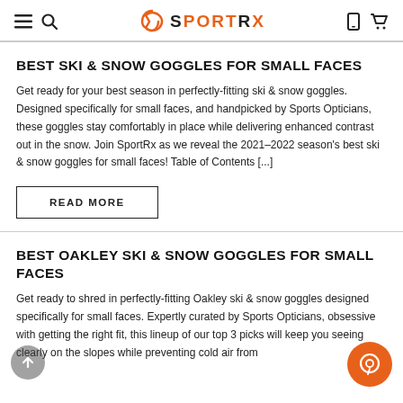SportRx — navigation header with hamburger, search, logo, phone, cart icons
BEST SKI & SNOW GOGGLES FOR SMALL FACES
Get ready for your best season in perfectly-fitting ski & snow goggles. Designed specifically for small faces, and handpicked by Sports Opticians, these goggles stay comfortably in place while delivering enhanced contrast out in the snow. Join SportRx as we reveal the 2021–2022 season's best ski & snow goggles for small faces! Table of Contents [...]
READ MORE
BEST OAKLEY SKI & SNOW GOGGLES FOR SMALL FACES
Get ready to shred in perfectly-fitting Oakley ski & snow goggles designed specifically for small faces. Expertly curated by Sports Opticians, obsessive with getting the right fit, this lineup of our top 3 picks will keep you seeing clearly on the slopes while preventing cold air from